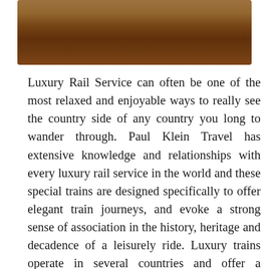[Figure (photo): Photo of a luxury train interior or railway scene with warm amber and brown tones, showing what appears to be a train corridor or station platform.]
Luxury Rail Service can often be one of the most relaxed and enjoyable ways to really see the country side of any country you long to wander through. Paul Klein Travel has extensive knowledge and relationships with every luxury rail service in the world and these special trains are designed specifically to offer elegant train journeys, and evoke a strong sense of association in the history, heritage and decadence of a leisurely ride. Luxury trains operate in several countries and offer a luxurious and comfortable traveling option to the travelers. Luxury train travel has several advantages over travel on airplanes. Whereas during air travel the monotony of the journey is occasionally broken by the view of clouds, hovering here and there, through the plane's window, a winding luxury ride on board the trains provides ample opportunity to the guests to witness the myriad colors of the places they are